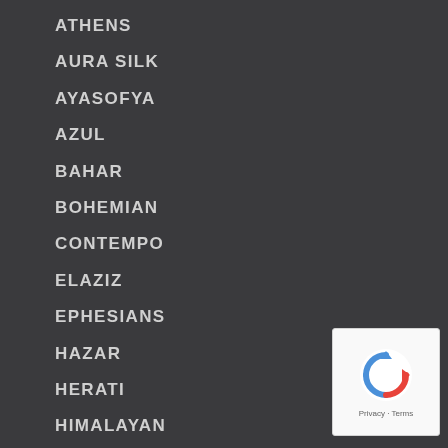ATHENS
AURA SILK
AYASOFYA
AZUL
BAHAR
BOHEMIAN
CONTEMPO
ELAZIZ
EPHESIANS
HAZAR
HERATI
HIMALAYAN
LOVE
MAHAL
MONACO
[Figure (logo): reCAPTCHA badge with Privacy and Terms links]